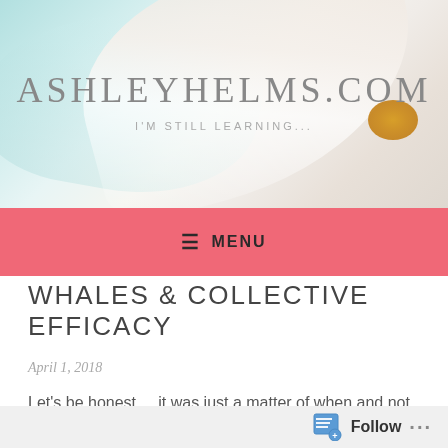ASHLEYHELMS.COM
I'M STILL LEARNING...
≡  MENU
WHALES & COLLECTIVE EFFICACY
April 1, 2018
Let's be honest. . .it was just a matter of when and not if I
Follow  ...